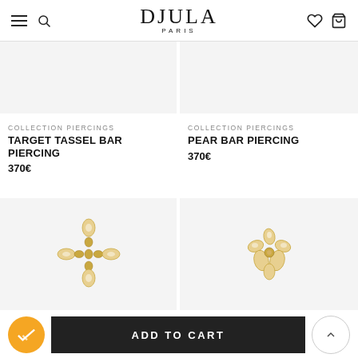DJULA PARIS
[Figure (photo): Top portion of product image for Target Tassel Bar Piercing (cropped at top)]
[Figure (photo): Top portion of product image for Pear Bar Piercing (cropped at top)]
COLLECTION PIERCINGS
TARGET TASSEL BAR PIERCING
370€
COLLECTION PIERCINGS
PEAR BAR PIERCING
370€
[Figure (photo): Gold cross-shaped piercing with diamond stones on light grey background]
[Figure (photo): Gold floral piercing with diamond stones on light grey background]
yellow gold 18k
Diamant 0.07cts
ADD TO CART